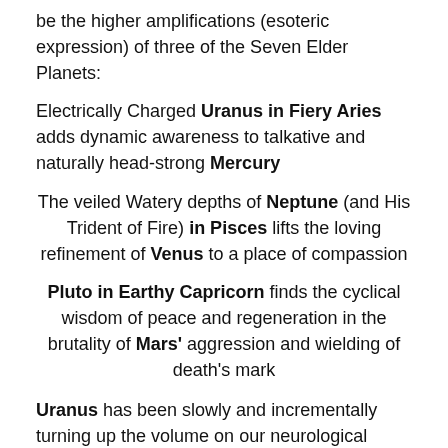be the higher amplifications (esoteric expression) of three of the Seven Elder Planets:
Electrically Charged Uranus in Fiery Aries adds dynamic awareness to talkative and naturally head-strong Mercury
The veiled Watery depths of Neptune (and His Trident of Fire) in Pisces lifts the loving refinement of Venus to a place of compassion
Pluto in Earthy Capricorn finds the cyclical wisdom of peace and regeneration in the brutality of Mars' aggression and wielding of death's mark
Uranus has been slowly and incrementally turning up the volume on our neurological receptors. With the advent of this New Moon, the ability to concretely hone in on what needs the closer scrutiny of Virgo's New Moon may seem